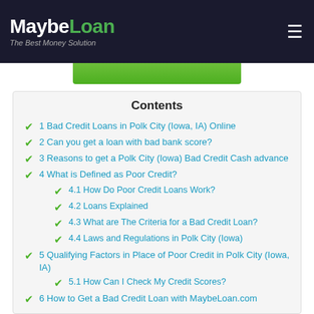MaybeLoan - The Best Money Solution
Contents
1 Bad Credit Loans in Polk City (Iowa, IA) Online
2 Can you get a loan with bad bank score?
3 Reasons to get a Polk City (Iowa) Bad Credit Cash advance
4 What is Defined as Poor Credit?
4.1 How Do Poor Credit Loans Work?
4.2 Loans Explained
4.3 What are The Criteria for a Bad Credit Loan?
4.4 Laws and Regulations in Polk City (Iowa)
5 Qualifying Factors in Place of Poor Credit in Polk City (Iowa, IA)
5.1 How Can I Check My Credit Scores?
6 How to Get a Bad Credit Loan with MaybeLoan.com